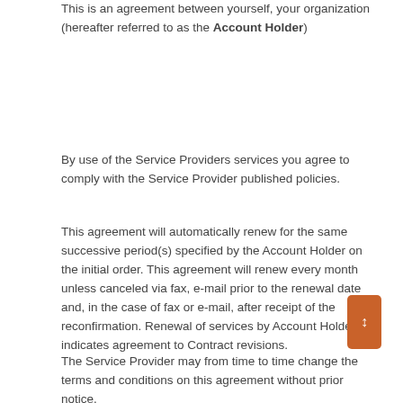This is an agreement between yourself, your organization (hereafter referred to as the Account Holder)
By use of the Service Providers services you agree to comply with the Service Provider published policies.
This agreement will automatically renew for the same successive period(s) specified by the Account Holder on the initial order. This agreement will renew every month unless canceled via fax, e-mail prior to the renewal date and, in the case of fax or e-mail, after receipt of the reconfirmation. Renewal of services by Account Holder indicates agreement to Contract revisions.
The Service Provider may from time to time change the terms and conditions on this agreement without prior notice.